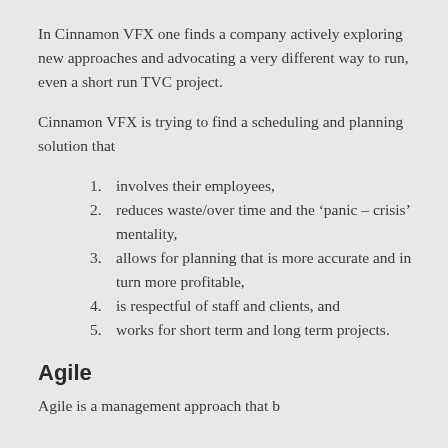In Cinnamon VFX one finds a company actively exploring new approaches and advocating a very different way to run, even a short run TVC project.
Cinnamon VFX is trying to find a scheduling and planning solution that
1. involves their employees,
2. reduces waste/over time and the ‘panic – crisis’ mentality,
3. allows for planning that is more accurate and in turn more profitable,
4. is respectful of staff and clients, and
5. works for short term and long term projects.
Agile
Agile is a...